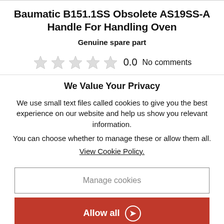Baumatic B151.1SS Obsolete AS19SS-A Handle For Handling Oven
Genuine spare part
0.0  No comments
We Value Your Privacy
We use small text files called cookies to give you the best experience on our website and help us show you relevant information.
You can choose whether to manage these or allow them all. View Cookie Policy.
Manage cookies
Allow all